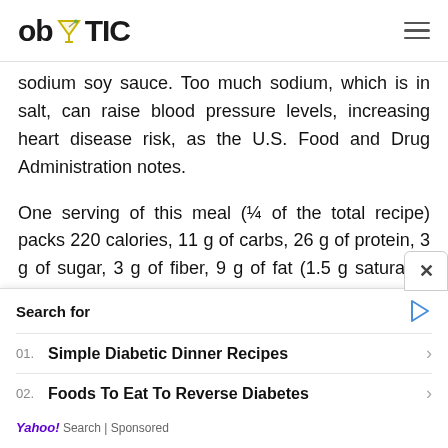ob TIC
sodium soy sauce. Too much sodium, which is in salt, can raise blood pressure levels, increasing heart disease risk, as the U.S. Food and Drug Administration notes.

One serving of this meal (¼ of the total recipe) packs 220 calories, 11 g of carbs, 26 g of protein, 3 g of sugar, 3 g of fiber, 9 g of fat (1.5 g saturated fat), and 380 milligrams (mg) of sodium.

If you want to add more carbs, be sure to
[Figure (other): Advertisement panel with 'Search for' heading, two sponsored search results: '01. Simple Diabetic Dinner Recipes' and '02. Foods To Eat To Reverse Diabetes', and a Yahoo! Search | Sponsored footer.]